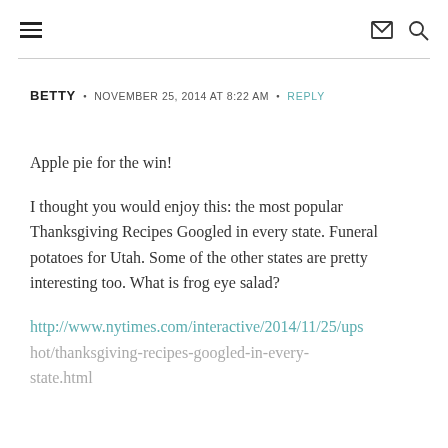☰  ✉ 🔍
BETTY  •  NOVEMBER 25, 2014 AT 8:22 AM  •  REPLY
Apple pie for the win!
I thought you would enjoy this: the most popular Thanksgiving Recipes Googled in every state. Funeral potatoes for Utah. Some of the other states are pretty interesting too. What is frog eye salad?
http://www.nytimes.com/interactive/2014/11/25/upshot/thanksgiving-recipes-googled-in-every-state.html